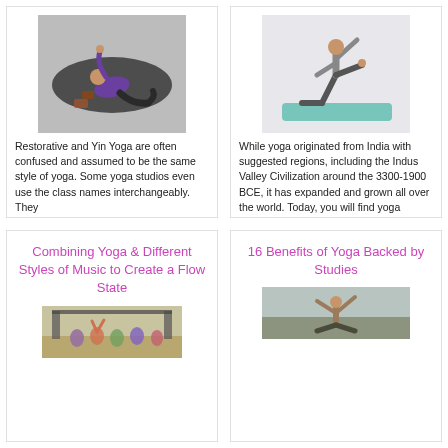[Figure (photo): Person in purple top lying on a dark yoga mat with yoga blocks, viewed from above]
Restorative and Yin Yoga are often confused and assumed to be the same style of yoga. Some yoga studios even use the class names interchangeably. They
[Figure (photo): Person performing a side angle or triangle yoga pose on a teal yoga mat, viewed from the side]
While yoga originated from India with suggested regions, including the Indus Valley Civilization around the 3300-1900 BCE, it has expanded and grown all over the world. Today, you will find yoga practitioners
Combining Yoga & Different Styles of Music to Create a Flow State
[Figure (photo): People doing yoga at a music event or festival]
16 Benefits of Yoga Backed by Studies
[Figure (photo): Person doing a yoga pose outdoors]